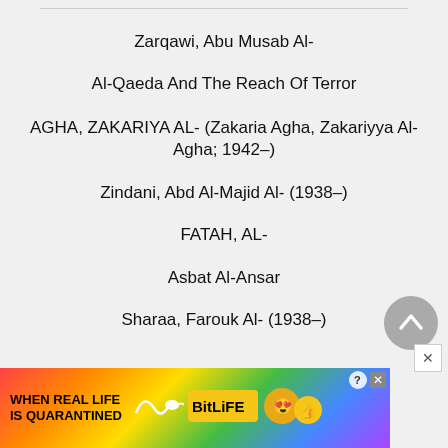Zarqawi, Abu Musab Al-
Al-Qaeda And The Reach Of Terror
AGHA, ZAKARIYA AL- (Zakaria Agha, Zakariyya Al-Agha; 1942–)
Zindani, Abd Al-Majid Al- (1938–)
FATAH, AL-
Asbat Al-Ansar
Sharaa, Farouk Al- (1938–)
[Figure (screenshot): Advertisement banner for BitLife mobile game with colorful rainbow background, cartoon characters, and text 'WHEN REAL LIFE IS QUARANTINED']